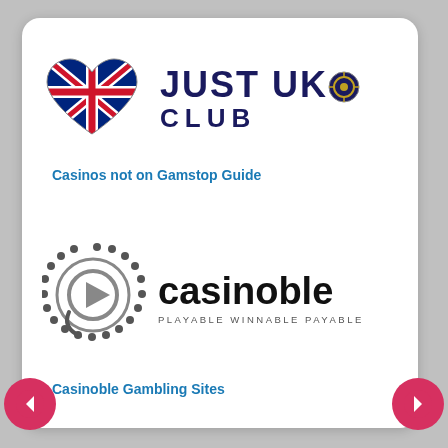[Figure (logo): Just UK Club logo with Union Jack heart shape and text JUST UK CLUB]
Casinos not on Gamstop Guide
[Figure (logo): Casinoble logo with circular play button icon and text casinoble PLAYABLE WINNABLE PAYABLE]
Casinoble Gambling Sites